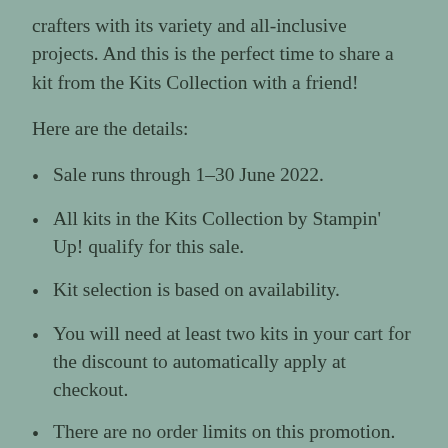crafters with its variety and all-inclusive projects. And this is the perfect time to share a kit from the Kits Collection with a friend!
Here are the details:
Sale runs through 1–30 June 2022.
All kits in the Kits Collection by Stampin' Up! qualify for this sale.
Kit selection is based on availability.
You will need at least two kits in your cart for the discount to automatically apply at checkout.
There are no order limits on this promotion.